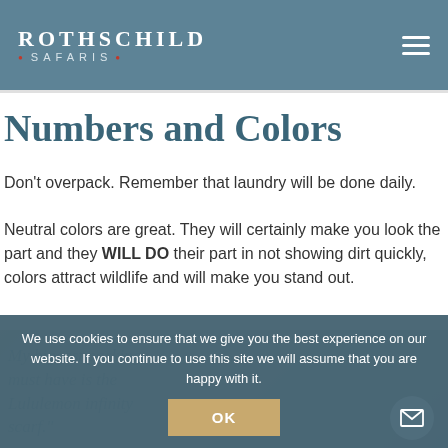ROTHSCHILD SAFARIS
Numbers and Colors
Don't overpack. Remember that laundry will be done daily.
Neutral colors are great. They will certainly make you look the part and they WILL DO their part in not showing dirt quickly, colors attract wildlife and will make you stand out.
[Figure (photo): Background image with italic quote text: 'My biggest packing must have is the Lululemon infinity scarf.']
We use cookies to ensure that we give you the best experience on our website. If you continue to use this site we will assume that you are happy with it.